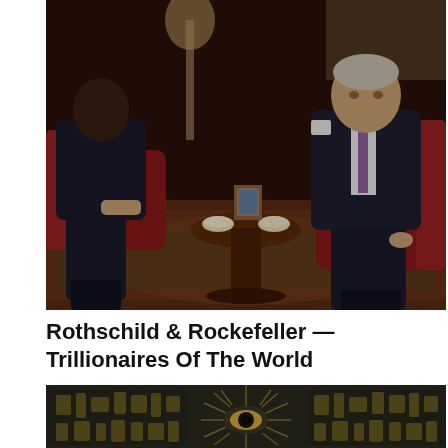[Figure (photo): Two elderly men in dark suits seated in leather armchairs in an ornate room with red furnishings, a small round table between them holding tea cups and a framed photo, on a decorative rug.]
Rothschild & Rockefeller — Trillionaires Of The World
[Figure (photo): Close-up of an engraved or carved surface showing an all-seeing eye with radiating rays, surrounded by hieroglyphic-style symbols and figures.]